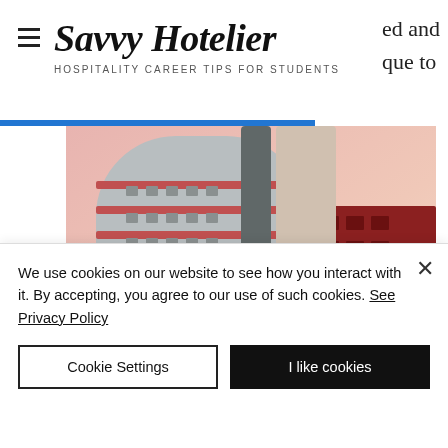Savvy Hotelier — HOSPITALITY CAREER TIPS FOR STUDENTS
[Figure (photo): Exterior photo of a modern curved multi-story hotel/apartment building with red and grey balconies against a pink/sunset sky, with a red brick building in the background right.]
We use cookies on our website to see how you interact with it. By accepting, you agree to our use of such cookies. See Privacy Policy
Cookie Settings
I like cookies